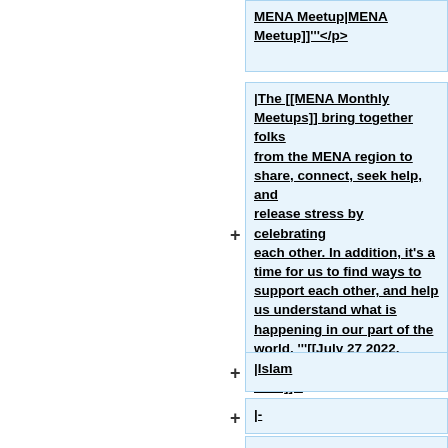MENA Meetup|MENA Meetup]]'''</p>
|The [[MENA Monthly Meetups]] bring together folks from the MENA region to share, connect, seek help, and release stress by celebrating each other. In addition, it's a time for us to find ways to support each other, and help us understand what is happening in our part of the world. '''[[July 27 2022, MENA Meetup|Read Notes Here]]'''
|Islam
|-
|July 27